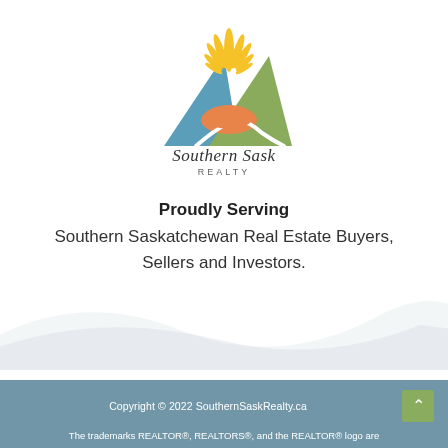[Figure (logo): Southern Sask Realty logo: triangle mountain shape with blue, orange, green colors and sun rays, with cursive 'Southern Sask' and 'REALTY' text below]
Proudly Serving
Southern Saskatchewan Real Estate Buyers, Sellers and Investors.
Copyright © 2022 SouthernSaskRealty.ca
The trademarks REALTOR®, REALTORS®, and the REALTOR® logo are